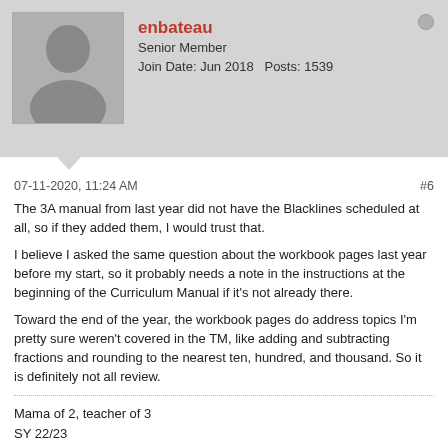enbateau
Senior Member
Join Date: Jun 2018   Posts: 1539
07-11-2020, 11:24 AM
#6
The 3A manual from last year did not have the Blacklines scheduled at all, so if they added them, I would trust that.
I believe I asked the same question about the workbook pages last year before my start, so it probably needs a note in the instructions at the beginning of the Curriculum Manual if it's not already there.
Toward the end of the year, the workbook pages do address topics I'm pretty sure weren't covered in the TM, like adding and subtracting fractions and rounding to the nearest ten, hundred, and thousand. So it is definitely not all review.
Mama of 2, teacher of 3
SY 22/23
6A, teaching TFL & CC Chreia/Maxim w/ Elementary Greek Year One
MP2

Completed MPK, MP1, MP2, 3A, 4A, 5A
SC B, SC C, SC1 (Phonics/Math)